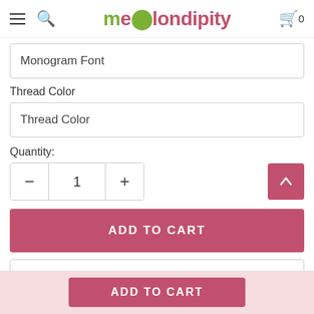melondipity — cart: 0
Monogram Font
Thread Color
Thread Color
Quantity:
1
ADD TO CART
♥ ADD TO WISH LIST
ADD TO CART